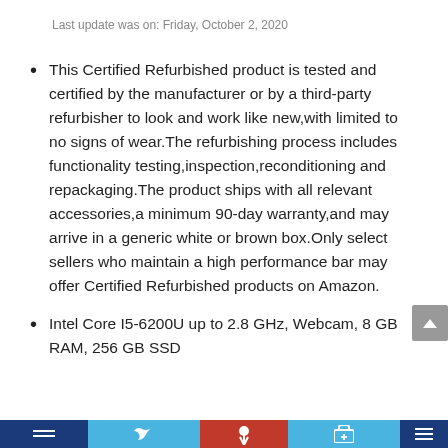Last update was on: Friday, October 2, 2020
This Certified Refurbished product is tested and certified by the manufacturer or by a third-party refurbisher to look and work like new,with limited to no signs of wear.The refurbishing process includes functionality testing,inspection,reconditioning and repackaging.The product ships with all relevant accessories,a minimum 90-day warranty,and may arrive in a generic white or brown box.Only select sellers who maintain a high performance bar may offer Certified Refurbished products on Amazon.
Intel Core I5-6200U up to 2.8 GHz, Webcam, 8 GB RAM, 256 GB SSD